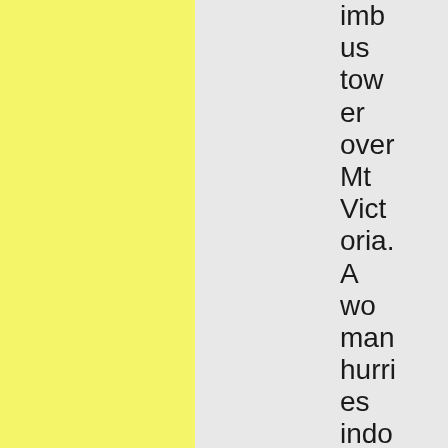imbus tower over Mt Victoria. A woman hurries indoors. On her doorstep her cat